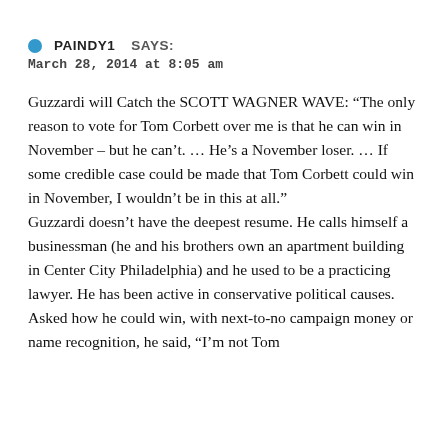PAINDY1 SAYS:
March 28, 2014 at 8:05 am
Guzzardi will Catch the SCOTT WAGNER WAVE: “The only reason to vote for Tom Corbett over me is that he can win in November – but he can’t. … He’s a November loser. … If some credible case could be made that Tom Corbett could win in November, I wouldn’t be in this at all.”
Guzzardi doesn’t have the deepest resume. He calls himself a businessman (he and his brothers own an apartment building in Center City Philadelphia) and he used to be a practicing lawyer. He has been active in conservative political causes.
Asked how he could win, with next-to-no campaign money or name recognition, he said, “I’m not Tom